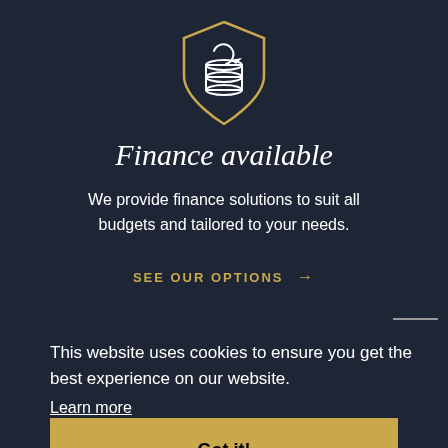[Figure (logo): Shield icon with stacked coins and circular arrow, gold border on dark navy background]
Finance available
We provide finance solutions to suit all budgets and tailored to your needs.
SEE OUR OPTIONS →
This website uses cookies to ensure you get the best experience on our website.
Learn more
Got it!
FIND OUT MORE →